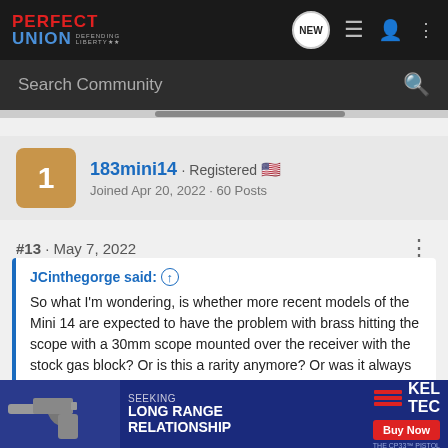Perfect Union · DEFENDING LIBERTY
Search Community
[Figure (screenshot): User profile card for 183mini14, Registered, US flag, Joined Apr 20, 2022, 60 Posts]
#13 · May 7, 2022
JCinthegorge said: ↑
So what I'm wondering, is whether more recent models of the Mini 14 are expected to have the problem with brass hitting the scope with a 30mm scope mounted over the receiver with the stock gas block? Or is this a rarity anymore? Or was it always a rare event?
To answ...ed over time in i... and 181, th...d a bolt
[Figure (infographic): KEL-TEC advertisement banner: SEEKING LONG RANGE RELATIONSHIP, THE CP33 PISTOL, Buy Now]